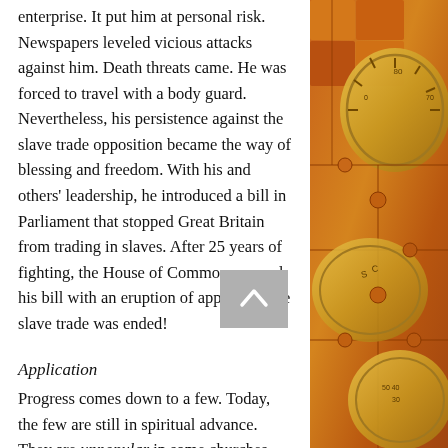enterprise. It put him at personal risk. Newspapers leveled vicious attacks against him. Death threats came. He was forced to travel with a body guard. Nevertheless, his persistence against the slave trade opposition became the way of blessing and freedom. With his and others' leadership, he introduced a bill in Parliament that stopped Great Britain from trading in slaves. After 25 years of fighting, the House of Commons passed his bill with an eruption of applause! The slave trade was ended!
Application
Progress comes down to a few. Today, the few are still in spiritual advance. They are unpopular in some churches
[Figure (photo): Decorative right-side image showing golden jigsaw puzzle pieces with coins or compass markings, in warm orange and yellow tones.]